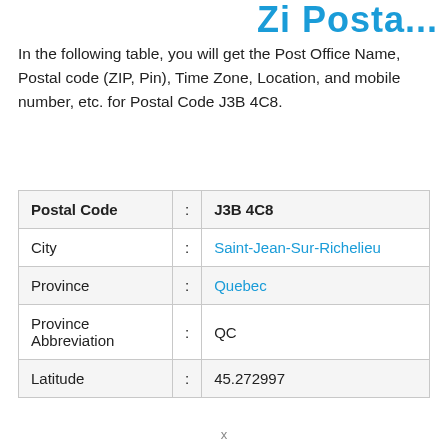Zi Posta...
In the following table, you will get the Post Office Name, Postal code (ZIP, Pin), Time Zone, Location, and mobile number, etc. for Postal Code J3B 4C8.
| Postal Code | : | J3B 4C8 |
| City | : | Saint-Jean-Sur-Richelieu |
| Province | : | Quebec |
| Province Abbreviation | : | QC |
| Latitude | : | 45.272997 |